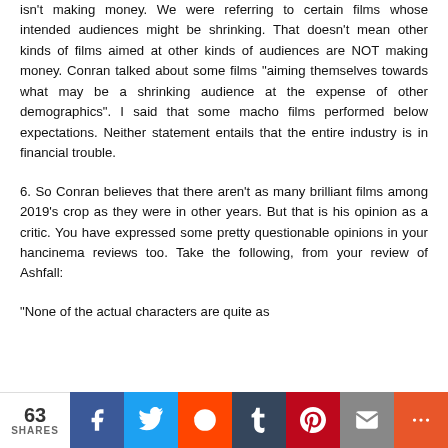isn't making money. We were referring to certain films whose intended audiences might be shrinking. That doesn't mean other kinds of films aimed at other kinds of audiences are NOT making money. Conran talked about some films "aiming themselves towards what may be a shrinking audience at the expense of other demographics". I said that some macho films performed below expectations. Neither statement entails that the entire industry is in financial trouble.
6. So Conran believes that there aren't as many brilliant films among 2019's crop as they were in other years. But that is his opinion as a critic. You have expressed some pretty questionable opinions in your hancinema reviews too. Take the following, from your review of Ashfall:
"None of the actual characters are quite as
63 SHARES  f  t  reddit  t  p  mail  +